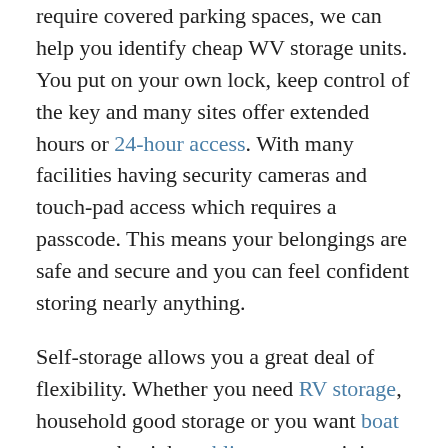require covered parking spaces, we can help you identify cheap WV storage units. You put on your own lock, keep control of the key and many sites offer extended hours or 24-hour access. With many facilities having security cameras and touch-pad access which requires a passcode. This means your belongings are safe and secure and you can feel confident storing nearly anything.
Self-storage allows you a great deal of flexibility. Whether you need RV storage, household good storage or you want boat storage, the right public storage unit is waiting for you. West Virginia self storage offers a wide range of options including indoor storage units, drive up storage units, covered parking spaces and uncovered parking spaces. You can find the unit you need for an affordable price, regardless of your budget.
We know size is a concern, that's why we take the time to offer the best cheap WV storage units in a variety of sizes. You can find 5 x 5 storage units, 5 x 10 storage units, 10 x 10 storage units, 10 x 15 storage units or 10 x 20 storage units specifically designed to meet